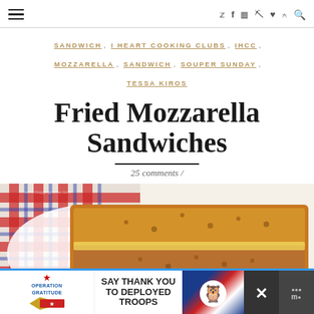☰  🐦 f 📷 p ❤ ))) 🔍
SANDWICH , I HEART COOKING CLUBS , IHCC , MOZZARELLA , SANDWICH , SOUPER SUNDAY , TESSA KIROS
Fried Mozzarella Sandwiches
25 comments /
[Figure (photo): Close-up photo of fried mozzarella sandwiches on a red and white checkered plate, golden brown breaded exterior visible]
[Figure (infographic): Operation Gratitude advertisement banner: SAY THANK YOU TO DEPLOYED TROOPS, with patriotic imagery and owl mascot]